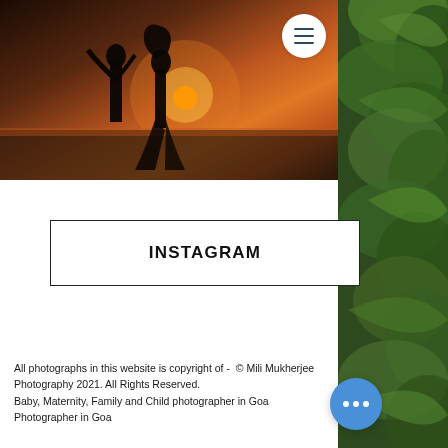[Figure (photo): Hero image with couple silhouette at sunset on beach in Goa with warm orange sky, with hamburger menu button in top right corner]
Evening full of love in Goa | Baby Photographer in Goa
[Figure (photo): Green tropical foliage/palm leaves on right side panel background]
INSTAGRAM
All photographs in this website is copyright of -  © Mili Mukherjee Photography 2021. All Rights Reserved.
Baby, Maternity, Family and Child photographer in Goa
Photographer in Goa